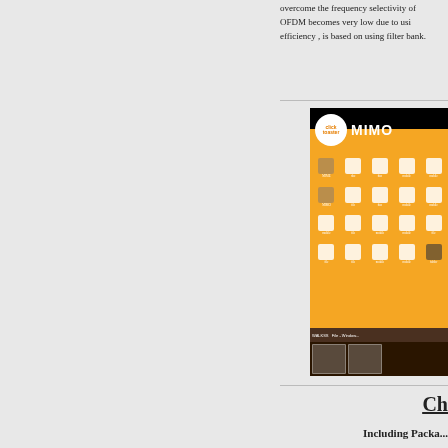overcome the frequency selectivity of OFDM becomes very low due to usi efficiency , is based on using filter bank
[Figure (screenshot): Screenshot of a MIMO-related application or tutorial interface showing a file manager or desktop with icons on an orange/brown background, with a white circular logo and 'MIMO' text header at top, taskbar at bottom]
Ch
Including Packa...